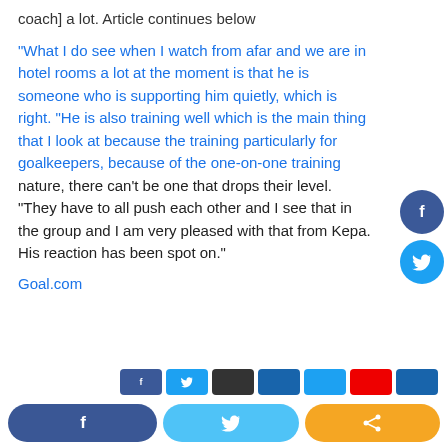coach] a lot. Article continues below
“What I do see when I watch from afar and we are in hotel rooms a lot at the moment is that he is someone who is supporting him quietly, which is right. “He is also training well which is the main thing that I look at because the training particularly for goalkeepers, because of the one-on-one training nature, there can’t be one that drops their level. “They have to all push each other and I see that in the group and I am very pleased with that from Kepa. His reaction has been spot on.”
Goal.com
[Figure (infographic): Social share buttons: Facebook, Twitter, and a share button at the bottom of the page. Facebook and Twitter circular buttons on the right side.]